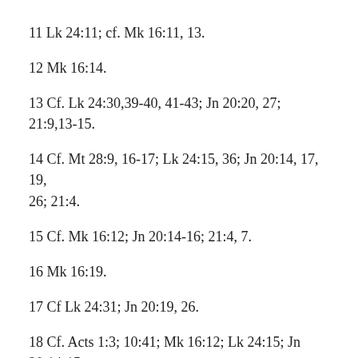11 Lk 24:11; cf. Mk 16:11, 13.
12 Mk 16:14.
13 Cf. Lk 24:30,39-40, 41-43; Jn 20:20, 27; 21:9,13-15.
14 Cf. Mt 28:9, 16-17; Lk 24:15, 36; Jn 20:14, 17, 19, 26; 21:4.
15 Cf. Mk 16:12; Jn 20:14-16; 21:4, 7.
16 Mk 16:19.
17 Cf Lk 24:31; Jn 20:19, 26.
18 Cf. Acts 1:3; 10:41; Mk 16:12; Lk 24:15; Jn 20:14-15; 21:4.